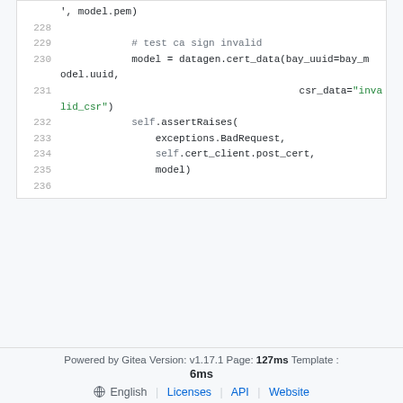[Figure (screenshot): Code block showing Python test code, lines 228-236, with syntax highlighting. Line 229 has a comment '# test ca sign invalid', line 230-231 shows model assignment with datagen.cert_data call, lines 232-235 show self.assertRaises with exceptions.BadRequest.]
Powered by Gitea Version: v1.17.1 Page: 127ms Template : 6ms  English | Licenses | API | Website